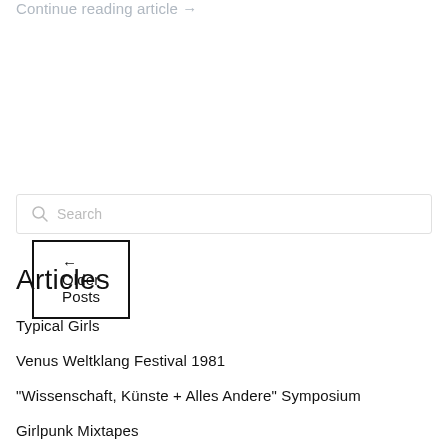Continue reading article →
← Older Posts
Search
Articles
Typical Girls
Venus Weltklang Festival 1981
“Wissenschaft, Künste + Alles Andere” Symposium
Girlpunk Mixtapes
Women's Liberation Music Archive